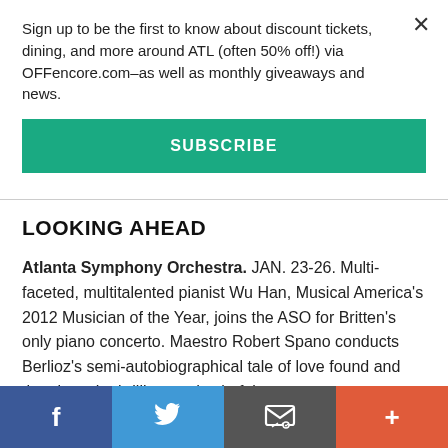Sign up to be the first to know about discount tickets, dining, and more around ATL (often 50% off!) via OFFencore.com–as well as monthly giveaways and news.
SUBSCRIBE
LOOKING AHEAD
Atlanta Symphony Orchestra. JAN. 23-26. Multi-faceted, multitalented pianist Wu Han, Musical America's 2012 Musician of the Year, joins the ASO for Britten's only piano concerto. Maestro Robert Spano conducts Berlioz's semi-autobiographical tale of love found and then lost, the brilliant and colorful